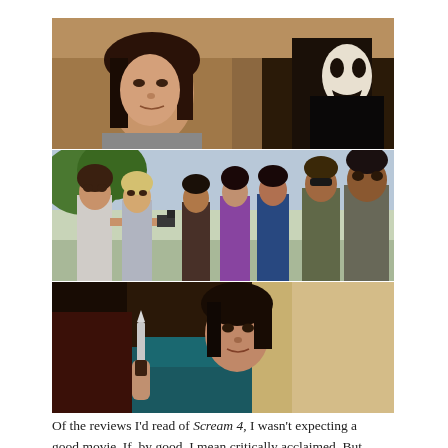[Figure (photo): Collage of three stacked film stills from Scream 4. Top: a young woman with dark hair looking to the side in a dark interior, with a Ghostface mask visible in the background. Middle: a group of seven people including several women and two men in police uniforms standing outdoors. Bottom: a dark-haired woman holding a knife in a dimly lit interior scene.]
Of the reviews I’d read of Scream 4, I wasn’t expecting a good movie. If, by good, I mean critically acclaimed. But since when is the fourth sequel of a horror movie ever critically acclaimed?